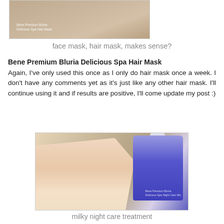[Figure (photo): Photo of a hair mask product container labeled 'Bene Premium Bluria Delicious Spa Hair Mask' shown on a wooden surface with someone's lower face visible]
face mask, hair mask, makes sense?
Bene Premium Bluria Delicious Spa Hair Mask
Again, I've only used this once as I only do hair mask once a week. I don't have any comments yet as it's just like any other hair mask. I'll continue using it and if results are positive, I'll come update my post :)
[Figure (photo): Photo of a hand with a dollop of white cream/lotion from a blue pump bottle labeled 'Bene Premium Bluria Delicious Spa Night Care Mix' on a wooden surface]
milky night care treatment